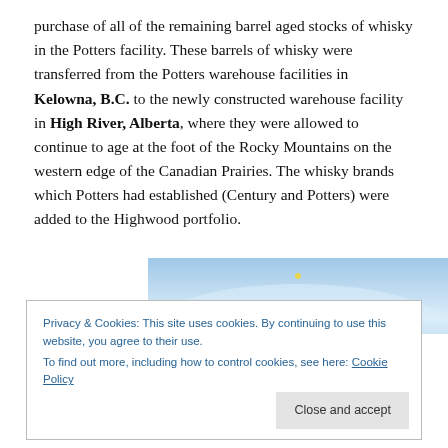purchase of all of the remaining barrel aged stocks of whisky in the Potters facility. These barrels of whisky were transferred from the Potters warehouse facilities in Kelowna, B.C. to the newly constructed warehouse facility in High River, Alberta, where they were allowed to continue to age at the foot of the Rocky Mountains on the western edge of the Canadian Prairies. The whisky brands which Potters had established (Century and Potters) were added to the Highwood portfolio.
[Figure (photo): Partial photo of a blue sky with curved horizon, partially visible at top of page behind cookie banner]
Privacy & Cookies: This site uses cookies. By continuing to use this website, you agree to their use.
To find out more, including how to control cookies, see here: Cookie Policy